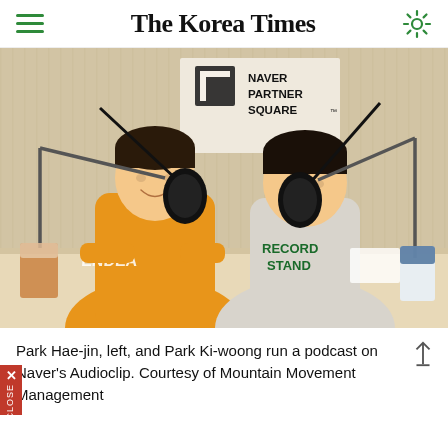The Korea Times
[Figure (photo): Park Hae-jin (left, yellow hoodie) and Park Ki-woong (right, grey sweatshirt) sit at a table with podcast microphones at Naver Partner Square, with audioclip branded items on the desk.]
Park Hae-jin, left, and Park Ki-woong run a podcast on Naver's Audioclip. Courtesy of Mountain Movement Management